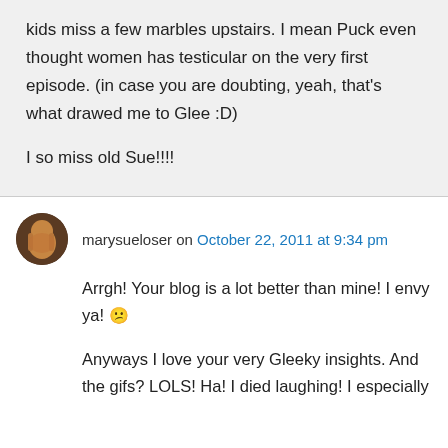kids miss a few marbles upstairs. I mean Puck even thought women has testicular on the very first episode. (in case you are doubting, yeah, that's what drawed me to Glee :D)

I so miss old Sue!!!!
marysueloser on October 22, 2011 at 9:34 pm
Arrgh! Your blog is a lot better than mine! I envy ya! 😕

Anyways I love your very Gleeky insights. And the gifs? LOLS! Ha! I died laughing! I especially